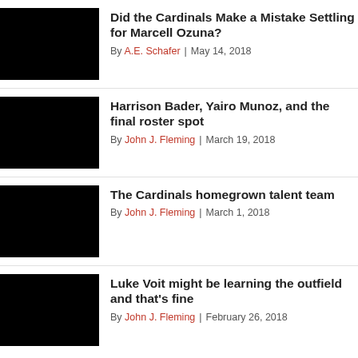[Figure (photo): Black thumbnail image for article 1]
Did the Cardinals Make a Mistake Settling for Marcell Ozuna?
By A.E. Schafer | May 14, 2018
[Figure (photo): Black thumbnail image for article 2]
Harrison Bader, Yairo Munoz, and the final roster spot
By John J. Fleming | March 19, 2018
[Figure (photo): Black thumbnail image for article 3]
The Cardinals homegrown talent team
By John J. Fleming | March 1, 2018
[Figure (photo): Black thumbnail image for article 4]
Luke Voit might be learning the outfield and that's fine
By John J. Fleming | February 26, 2018